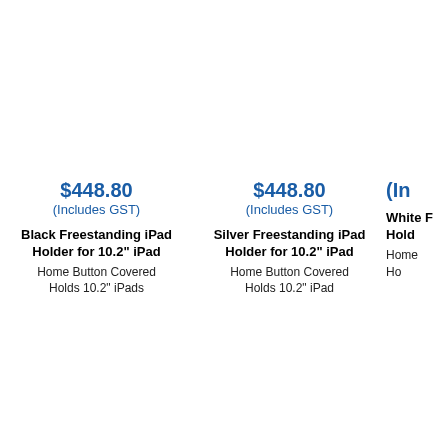$448.80
(Includes GST)
Black Freestanding iPad Holder for 10.2" iPad
Home Button Covered
Holds 10.2" iPads
$448.80
(Includes GST)
Silver Freestanding iPad Holder for 10.2" iPad
Home Button Covered
Holds 10.2" iPad
(In
White F
Hold
Home
Ho